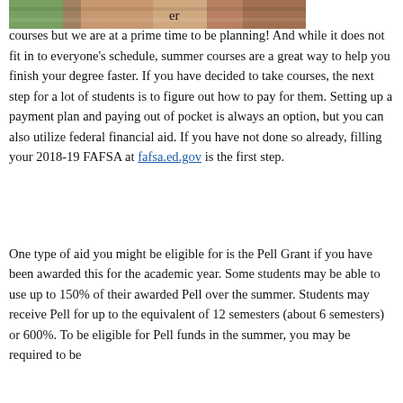[Figure (photo): Partial photo of a person or animal, cropped at top of page]
er courses but we are at a prime time to be planning! And while it does not fit in to everyone's schedule, summer courses are a great way to help you finish your degree faster. If you have decided to take courses, the next step for a lot of students is to figure out how to pay for them. Setting up a payment plan and paying out of pocket is always an option, but you can also utilize federal financial aid. If you have not done so already, filling your 2018-19 FAFSA at fafsa.ed.gov is the first step.
One type of aid you might be eligible for is the Pell Grant if you have been awarded this for the academic year. Some students may be able to use up to 150% of their awarded Pell over the summer. Students may receive Pell for up to the equivalent of 12 semesters (about 6 semesters) or 600%. To be eligible for Pell funds in the summer, you may be required to be